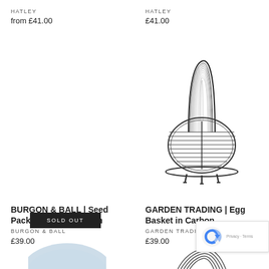HATLEY
from £41.00
HATLEY
£41.00
[Figure (photo): Wire egg basket with coiled handle in carbon/dark metal, round body with legs, by Garden Trading]
BURGON & BALL | Seed Pack Tin British Bloom
BURGON & BALL
£39.00
GARDEN TRADING | Egg Basket in Carbon
GARDEN TRADING
£39.00
SOLD OUT